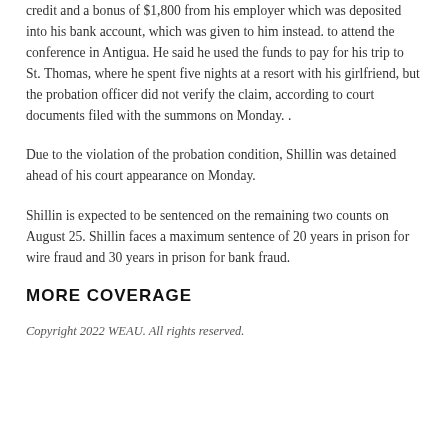credit and a bonus of $1,800 from his employer which was deposited into his bank account, which was given to him instead. to attend the conference in Antigua. He said he used the funds to pay for his trip to St. Thomas, where he spent five nights at a resort with his girlfriend, but the probation officer did not verify the claim, according to court documents filed with the summons on Monday. .
Due to the violation of the probation condition, Shillin was detained ahead of his court appearance on Monday.
Shillin is expected to be sentenced on the remaining two counts on August 25. Shillin faces a maximum sentence of 20 years in prison for wire fraud and 30 years in prison for bank fraud.
MORE COVERAGE
Copyright 2022 WEAU. All rights reserved.